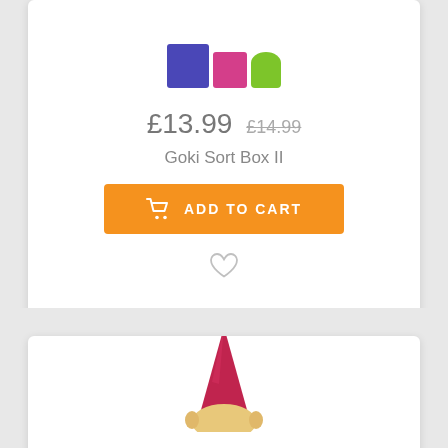[Figure (photo): Colorful wooden sorting blocks toy — blue cube, pink cube, green cylinder]
£13.99  £14.99
Goki Sort Box II
[Figure (other): ADD TO CART button with shopping cart icon]
[Figure (other): Wishlist heart icon]
[Figure (photo): Wooden gnome toy with pink/red hat, partially visible at bottom of page]